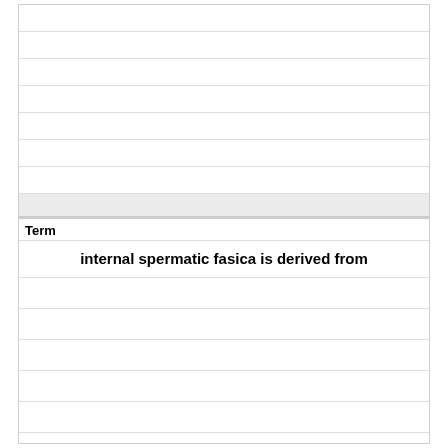Term
internal spermatic fasica is derived from
Definition
fascia transversalis